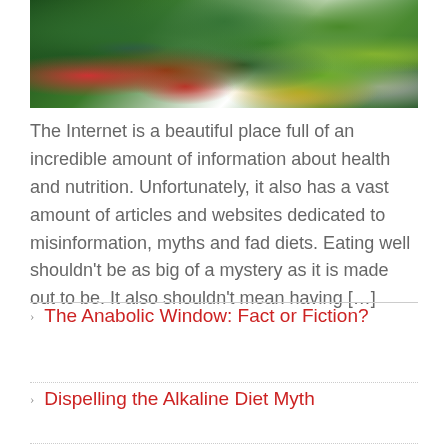[Figure (photo): Overhead view of colorful vegetables and greens including broccoli, peppers, ginger, asparagus, tomatoes, and other fresh produce arranged on a white background]
The Internet is a beautiful place full of an incredible amount of information about health and nutrition. Unfortunately, it also has a vast amount of articles and websites dedicated to misinformation, myths and fad diets. Eating well shouldn't be as big of a mystery as it is made out to be. It also shouldn't mean having […]
The Anabolic Window: Fact or Fiction?
Dispelling the Alkaline Diet Myth